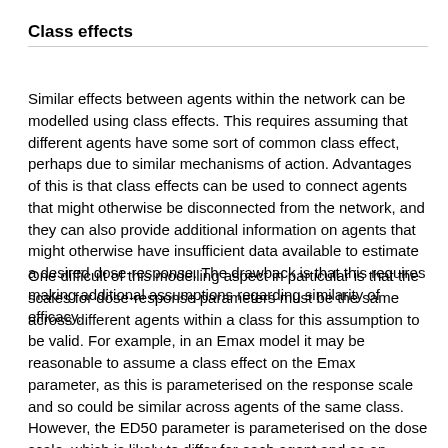Class effects
Similar effects between agents within the network can be modelled using class effects. This requires assuming that different agents have some sort of common class effect, perhaps due to similar mechanisms of action. Advantages of this is that class effects can be used to connect agents that might otherwise be disconnected from the network, and they can also provide additional information on agents that might otherwise have insufficient data available to estimate a desired dose-response. The drawback is that this requires making additional assumptions regarding similarity of efficacy.
One difficult of this modelling aspect in particular is that the scales for dose-response parameters must be the same across different agents within a class for this assumption to be valid. For example, in an Emax model it may be reasonable to assume a class effect on the Emax parameter, as this is parameterised on the response scale and so could be similar across agents of the same class. However, the ED50 parameter is parameterised on the dose scale, which is likely to differ for each agent and so an assumption of similarity